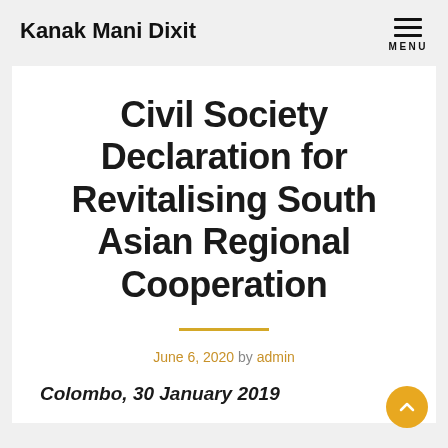Kanak Mani Dixit
Civil Society Declaration for Revitalising South Asian Regional Cooperation
June 6, 2020 by admin
Colombo, 30 January 2019